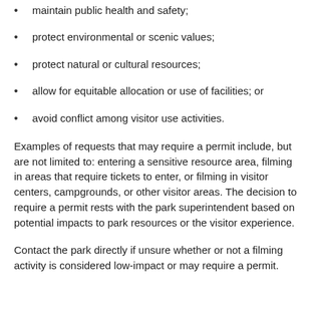maintain public health and safety;
protect environmental or scenic values;
protect natural or cultural resources;
allow for equitable allocation or use of facilities; or
avoid conflict among visitor use activities.
Examples of requests that may require a permit include, but are not limited to: entering a sensitive resource area, filming in areas that require tickets to enter, or filming in visitor centers, campgrounds, or other visitor areas. The decision to require a permit rests with the park superintendent based on potential impacts to park resources or the visitor experience.
Contact the park directly if unsure whether or not a filming activity is considered low-impact or may require a permit.